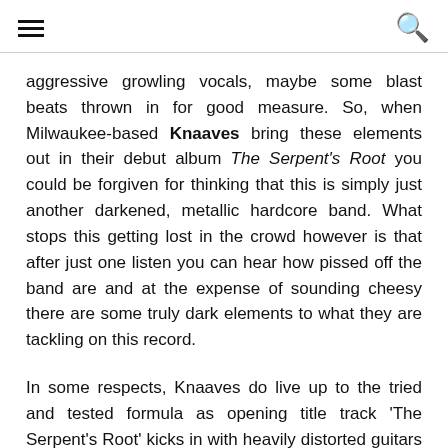[hamburger menu icon] [search icon]
aggressive growling vocals, maybe some blast beats thrown in for good measure. So, when Milwaukee-based Knaaves bring these elements out in their debut album The Serpent's Root you could be forgiven for thinking that this is simply just another darkened, metallic hardcore band. What stops this getting lost in the crowd however is that after just one listen you can hear how pissed off the band are and at the expense of sounding cheesy there are some truly dark elements to what they are tackling on this record.
In some respects, Knaaves do live up to the tried and tested formula as opening title track 'The Serpent's Root' kicks in with heavily distorted guitars and brutal screamed vocals to set the tone. But, what the four-piece